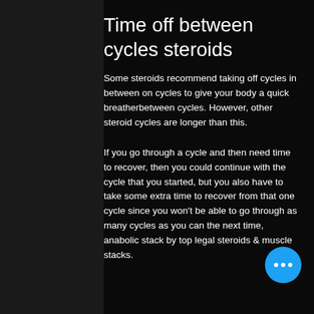Time off between cycles steroids
Some steroids recommend taking off cycles in between on cycles to give your body a quick breatherbetween cycles. However, other steroid cycles are longer than this.
If you go through a cycle and then need time to recover, then you could continue with the cycle that you started, but you also have to take some extra time to recover from that one cycle since you won't be able to go through as many cycles as you can the next time, anabolic stack by top legal steroids & muscle stacks.